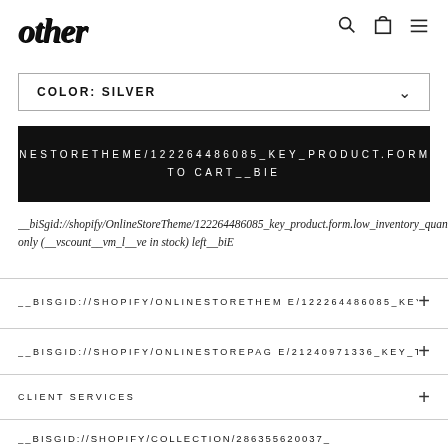[Figure (logo): other brand logo in blackletter/gothic italic font]
[Figure (infographic): Search, cart and hamburger menu icons in top right header]
COLOR: SILVER
IFY/ONLINESTORETHEM E/122264486085_KEY_PRODUCT.FORM.ADD_TO
TO CART__BIE
__biSgid://shopify/OnlineStoreTheme/122264486085_key_product.form.low_inventory_quantity_count.only (__vscount__vm_l__ve in stock) left__biE
__BISGID://SHOPIFY/ONLINESTORETHEM E/122264486085_KEY_
__BISGID://SHOPIFY/ONLINESTOREPAG E/21240971336_KEY_TI
CLIENT SERVICES
__BISGID://SHOPIFY/COLLECTION/286355620037_